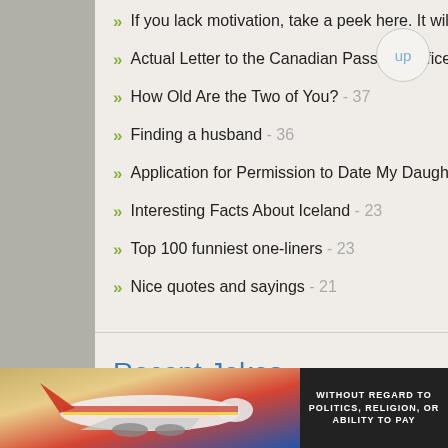If you lack motivation, take a peek here. It will NOT help you. - 45
Actual Letter to the Canadian Passport Office - Must Read! - 38
How Old Are the Two of You? - 37
Finding a husband - 36
Application for Permission to Date My Daughter - 25
Interesting Facts About Iceland - 23
Top 100 funniest one-liners - 23
Nice quotes and sayings - 21
Recent Jokes
A midget fortune teller
A horse breeder story
[Figure (photo): Cargo airplane being loaded on tarmac with Southwest Airlines livery, advertisement banner with text WITHOUT REGARD TO POLITICS, RELIGION, OR ABILITY TO PAY]